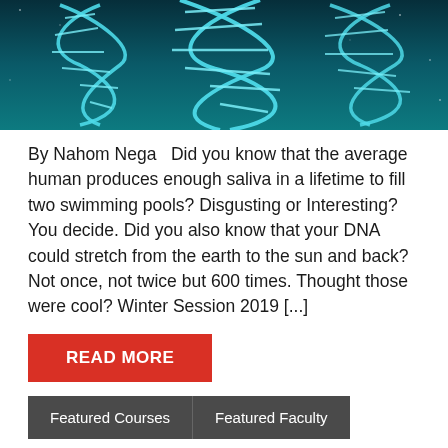[Figure (photo): Blue DNA double helix strands on dark teal/navy background]
By Nahom Nega   Did you know that the average human produces enough saliva in a lifetime to fill two swimming pools? Disgusting or Interesting? You decide. Did you also know that your DNA could stretch from the earth to the sun and back? Not once, not twice but 600 times. Thought those were cool? Winter Session 2019 [...]
READ MORE
Featured Courses   Featured Faculty
FEATURED COURSE - COEN BROTHERS: